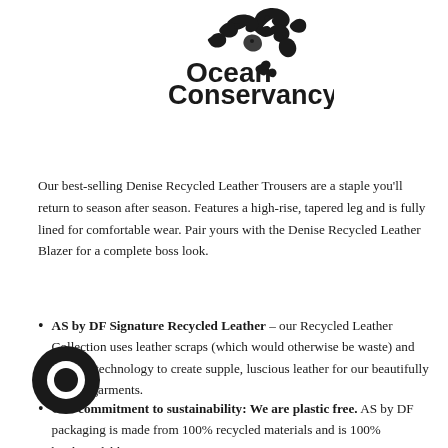[Figure (logo): Ocean Conservancy logo with decorative fish/nature motif at top and bold text reading 'Ocean Conservancy®']
Our best-selling Denise Recycled Leather Trousers are a staple you'll return to season after season. Features a high-rise, tapered leg and is fully lined for comfortable wear. Pair yours with the Denise Recycled Leather Blazer for a complete boss look.
AS by DF Signature Recycled Leather – our Recycled Leather Collection uses leather scraps (which would otherwise be waste) and modern technology to create supple, luscious leather for our beautifully crafted garments.
Our commitment to sustainability: We are plastic free. AS by DF packaging is made from 100% recycled materials and is 100% biodegradable.
[Figure (logo): Ocean Conservancy circular logo mark (dark circle with inner circle) at bottom left]